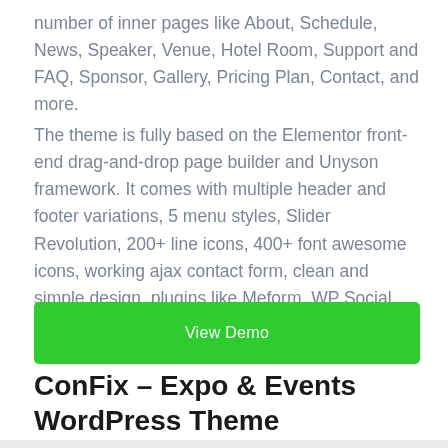number of inner pages like About, Schedule, News, Speaker, Venue, Hotel Room, Support and FAQ, Sponsor, Gallery, Pricing Plan, Contact, and more.
The theme is fully based on the Elementor front-end drag-and-drop page builder and Unyson framework. It comes with multiple header and footer variations, 5 menu styles, Slider Revolution, 200+ line icons, 400+ font awesome icons, working ajax contact form, clean and simple design, plugins like Meform, WP Social, WP Fundraising, and many more features.
[Figure (other): Green button labeled 'View Demo']
ConFix – Expo & Events WordPress Theme